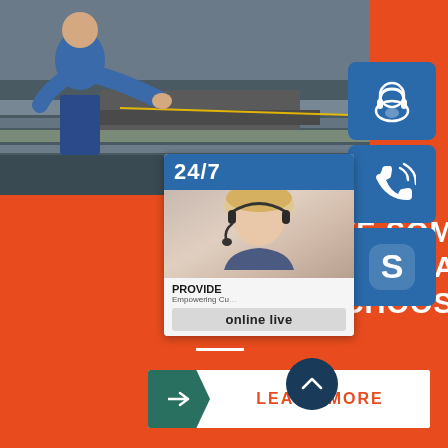[Figure (photo): Worker in blue uniform operating industrial metal sheet processing/rolling machinery in a factory setting]
WE HAVE SOME ME PROCESSING CAPACITY TO CHOOSE
[Figure (infographic): Right-side overlay showing 24/7 support widget with headset icon, phone icon, Skype icon, customer service representative photo, PROVIDE Empowering Customers text, and online live button]
LEARN MORE